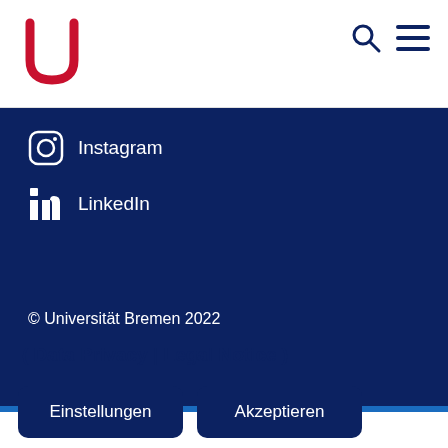Universität Bremen — Logo, Search, Menu
Instagram
LinkedIn
© Universität Bremen 2022
( Data Privacy | Legal Notice )
Einstellungen
Akzeptieren